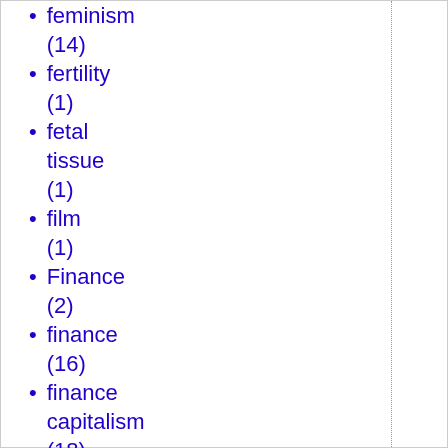feminism (14)
fertility (1)
fetal tissue (1)
film (1)
Finance (2)
finance (16)
finance capitalism (18)
finance crisis (15)
financial derivatives (9)
financiers (2)
First Amendment